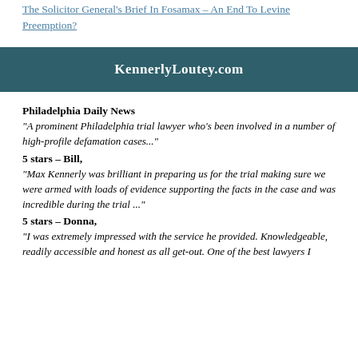The Solicitor General's Brief In Fosamax – An End To Levine Preemption?
[Figure (other): Dark teal banner with white bold text reading KennerlyLoutey.com]
Philadelphia Daily News
“A prominent Philadelphia trial lawyer who’s been involved in a number of high-profile defamation cases...”
5 stars – Bill,
“Max Kennerly was brilliant in preparing us for the trial making sure we were armed with loads of evidence supporting the facts in the case and was incredible during the trial ...”
5 stars – Donna,
“I was extremely impressed with the service he provided. Knowledgeable, readily accessible and honest as all get-out. One of the best lawyers I